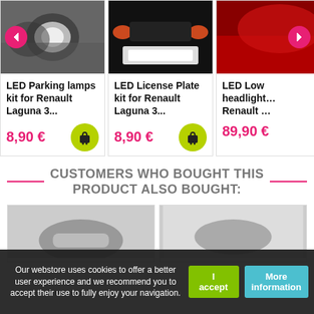[Figure (screenshot): Product card 1: LED Parking lamps kit for Renault Laguna 3 - car headlight image with left navigation arrow]
LED Parking lamps kit for Renault Laguna 3...
8,90 €
[Figure (screenshot): Product card 2: LED License Plate kit for Renault Laguna 3 - car rear plate illuminated image]
LED License Plate kit for Renault Laguna 3...
8,90 €
[Figure (screenshot): Product card 3: LED Low... headlight... Renault... - partial red car image with right navigation arrow]
LED Low... headlight... Renault...
89,90 €
CUSTOMERS WHO BOUGHT THIS PRODUCT ALSO BOUGHT:
[Figure (screenshot): Partial product image in 'also bought' section, left card]
[Figure (screenshot): Partial product image in 'also bought' section, right card]
Our webstore uses cookies to offer a better user experience and we recommend you to accept their use to fully enjoy your navigation.
I accept
More information